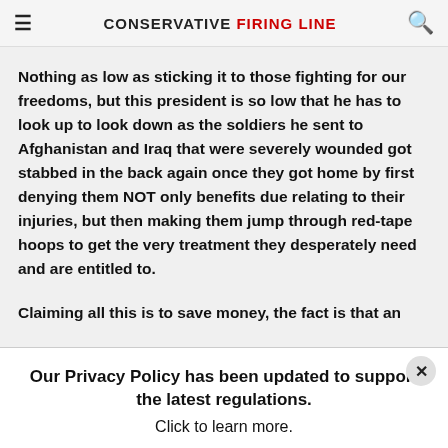CONSERVATIVE FIRING LINE
Nothing as low as sticking it to those fighting for our freedoms, but this president is so low that he has to look up to look down as the soldiers he sent to Afghanistan and Iraq that were severely wounded got stabbed in the back again once they got home by first denying them NOT only benefits due relating to their injuries, but then making them jump through red-tape hoops to get the very treatment they desperately need and are entitled to.
Claiming all this is to save money, the fact is that an
Our Privacy Policy has been updated to support the latest regulations. Click to learn more.